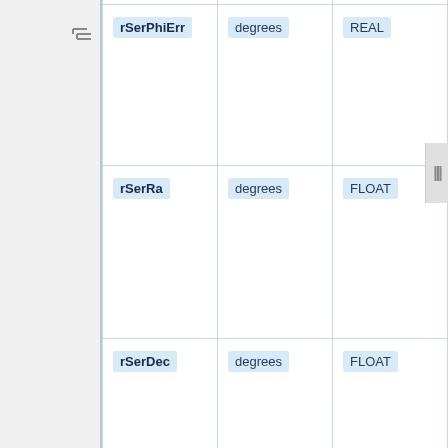| rSerPhiErr | degrees | REAL |
| rSerRa | degrees | FLOAT |
| rSerDec | degrees | FLOAT |